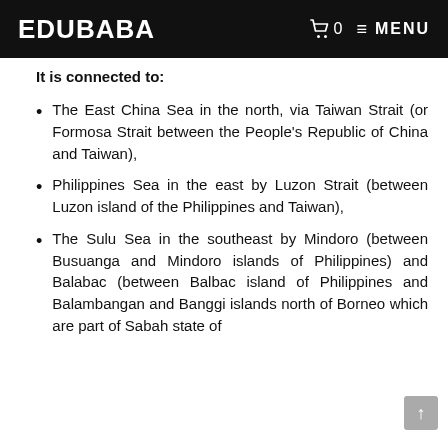EDUBABA — 0 MENU
It is connected to:
The East China Sea in the north, via Taiwan Strait (or Formosa Strait between the People's Republic of China and Taiwan),
Philippines Sea in the east by Luzon Strait (between Luzon island of the Philippines and Taiwan),
The Sulu Sea in the southeast by Mindoro (between Busuanga and Mindoro islands of Philippines) and Balabac (between Balbac island of Philippines and Balambangan and Banggi islands north of Borneo which are part of Sabah state of